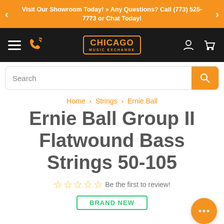Visit Our Showroom Today! » Any Questions? Call (773) 525-7773 or Chat Today!
[Figure (logo): Chicago Music Exchange logo with orange border and text]
Search
Home > Strings > Ernie Ball
Ernie Ball Group II Flatwound Bass Strings 50-105
☆ ☆ ☆ ☆ ☆ Be the first to review!
BRAND NEW